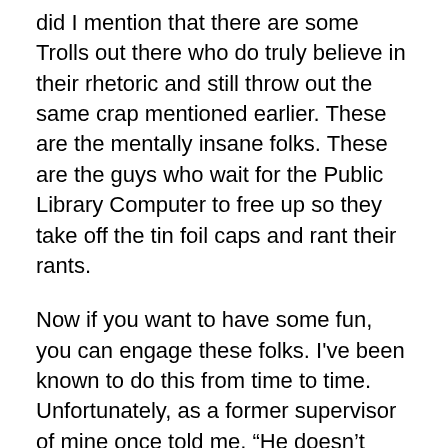did I mention that there are some Trolls out there who do truly believe in their rhetoric and still throw out the same crap mentioned earlier. These are the mentally insane folks. These are the guys who wait for the Public Library Computer to free up so they take off the tin foil caps and rant their rants.
Now if you want to have some fun, you can engage these folks. I've been known to do this from time to time. Unfortunately, as a former supervisor of mine once told me, “He doesn’t suffer fools” and I usually just say the hell with it and hit the block. You can do that, no harm, no foul, but you give them a victory. There have been times when I will re-tweet their stuff to my followers in much the same way Andrew Breitbart and his folks would do. I was part of many such exchanges before he died and actually had